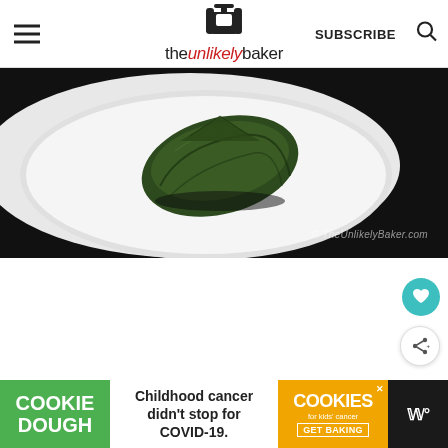theunlikelybaker — SUBSCRIBE
[Figure (photo): A dark green leaf-wrapped food bundle (possibly suman or similar rice cake wrapped in banana/pandan leaf) on a white ceramic plate against a dark background. Watermark reads: © TheUnlikelyBaker.com]
[Figure (infographic): Floating action buttons: teal heart/like button and white share button on the right side of the page]
[Figure (infographic): What's Next panel showing a thumbnail of Korean Cream Cheese Garlic bread with label 'WHAT'S NEXT →' and text 'Korean Cream Cheese Garl...']
[Figure (infographic): Advertisement banner: Cookie Dough brand ad with green left panel reading 'COOKIE DOUGH', white middle panel reading 'Childhood cancer didn't stop for COVID-19.', orange right panel showing 'cookies for kids cancer GET BAKING' with close button, and dark right panel with 'W°' branding]